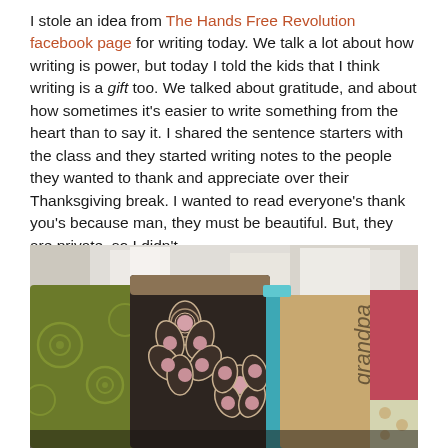I stole an idea from The Hands Free Revolution facebook page for writing today. We talk a lot about how writing is power, but today I told the kids that I think writing is a gift too. We talked about gratitude, and about how sometimes it's easier to write something from the heart than to say it. I shared the sentence starters with the class and they started writing notes to the people they wanted to thank and appreciate over their Thanksgiving break. I wanted to read everyone's thank you's because man, they must be beautiful. But, they are private, so I didn't.
[Figure (photo): Close-up photo of several decorative cups or containers with colorful patterns including floral and geometric designs in green, dark brown, teal, and pink colors.]